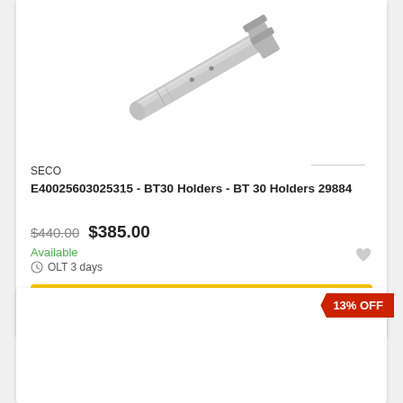[Figure (photo): Metal tool holder / BT30 spindle shaft shown diagonally, silver/grey machined metal component]
SECO
E40025603025315 - BT30 Holders - BT 30 Holders 29884
$440.00  $385.00
Available
OLT 3 days
ADD TO CART
13% OFF